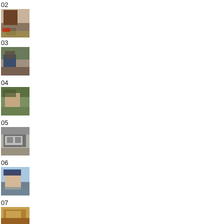02
[Figure (photo): Close-up portrait of a Black man wearing a red bandana around his neck, outdoors]
03
[Figure (photo): Person wearing a hat crouching in a rocky outdoor setting]
04
[Figure (photo): Person wearing a hat outdoors with green foliage in background]
05
[Figure (photo): Industrial or mechanical equipment, gray structure]
06
[Figure (photo): Elderly man wearing a cap, blue sky in background]
07
[Figure (photo): Golden/tan colored object, possibly a basket or rope coil]